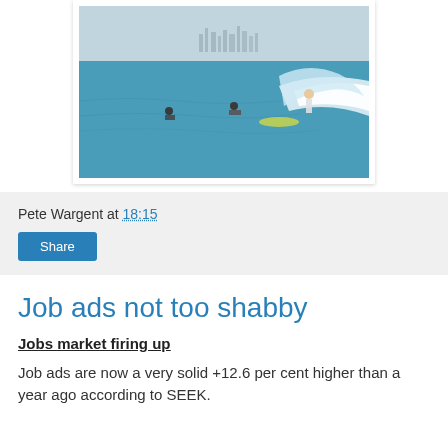[Figure (photo): Surfers riding waves on the ocean with a city skyline visible in the misty background]
Pete Wargent at 18:15
Share
Job ads not too shabby
Jobs market firing up
Job ads are now a very solid +12.6 per cent higher than a year ago according to SEEK.